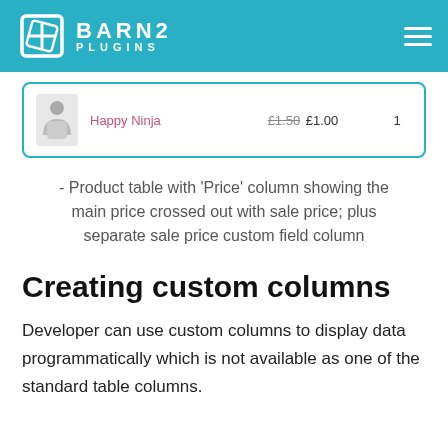BARN2 PLUGINS
[Figure (screenshot): Product table row showing Happy Ninja product with image, name in pink, price £1.50 crossed out and £1.00 sale price, quantity 1]
- Product table with 'Price' column showing the main price crossed out with sale price; plus separate sale price custom field column
Creating custom columns
Developer can use custom columns to display data programmatically which is not available as one of the standard table columns.